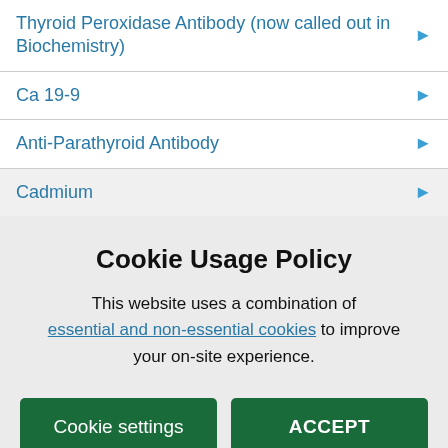Thyroid Peroxidase Antibody (now called out in Biochemistry)
Ca 19-9
Anti-Parathyroid Antibody
Cadmium
Cookie Usage Policy
This website uses a combination of essential and non-essential cookies to improve your on-site experience.
Cookie settings | ACCEPT